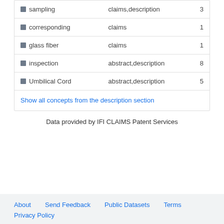| Concept | Section | Count |
| --- | --- | --- |
| sampling | claims,description | 3 |
| corresponding | claims | 1 |
| glass fiber | claims | 1 |
| inspection | abstract,description | 8 |
| Umbilical Cord | abstract,description | 5 |
Show all concepts from the description section
Data provided by IFI CLAIMS Patent Services
About   Send Feedback   Public Datasets   Terms   Privacy Policy